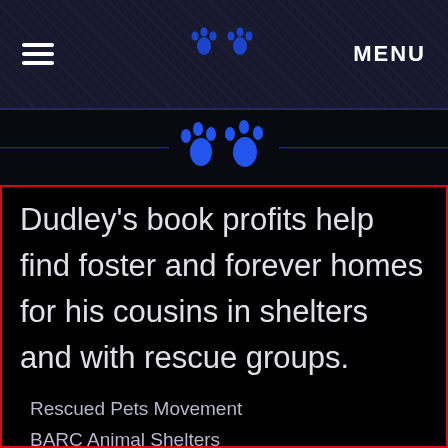≡  MENU
[Figure (illustration): Two blue paw print icons centered above a blue horizontal divider line]
Dudley's book profits help find foster and forever homes for his cousins in shelters and with rescue groups.
Rescued Pets Movement
BARC Animal Shelters
K-9 Angels Rescue